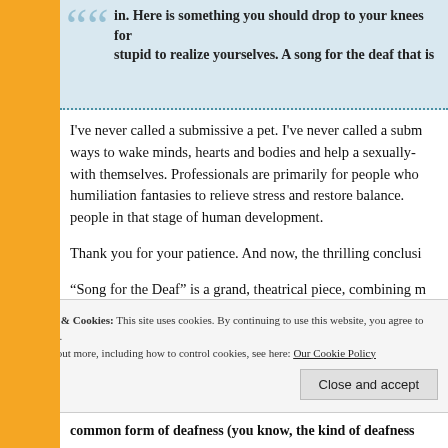in. Here is something you should drop to your knees for stupid to realize yourselves. A song for the deaf that is
I've never called a submissive a pet. I've never called a submissive ways to wake minds, hearts and bodies and help a sexually- with themselves. Professionals are primarily for people who humiliation fantasies to relieve stress and restore balance. people in that stage of human development.
Thank you for your patience. And now, the thrilling conclusi
“Song for the Deaf” is a grand, theatrical piece, combining m influences in a dark, moody soundscape peppered with half
Privacy & Cookies: This site uses cookies. By continuing to use this website, you agree to their use. To find out more, including how to control cookies, see here: Our Cookie Policy
common form of deafness (you know, the kind of deafness